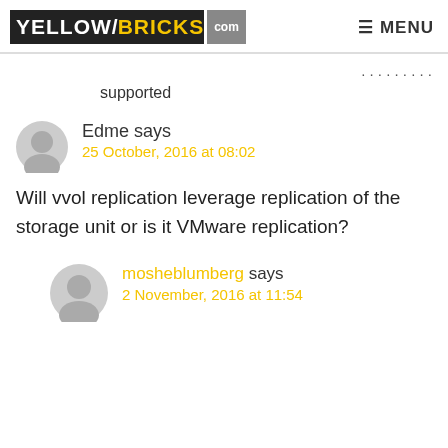YELLOW/BRICKS.com  ≡ MENU
supported
Edme says
25 October, 2016 at 08:02
Will vvol replication leverage replication of the storage unit or is it VMware replication?
mosheblumberg says
2 November, 2016 at 11:54